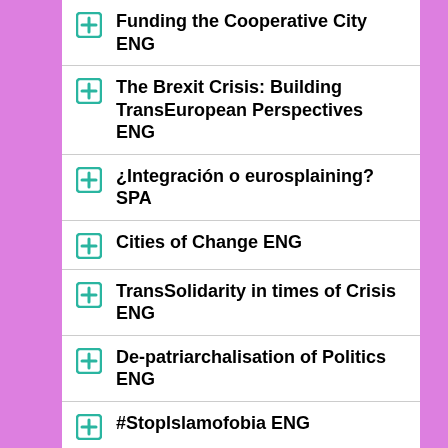Funding the Cooperative City ENG
The Brexit Crisis: Building TransEuropean Perspectives ENG
¿Integración o eurosplaining? SPA
Cities of Change ENG
TransSolidarity in times of Crisis ENG
De-patriarchalisation of Politics ENG
#StopIslamofobia ENG